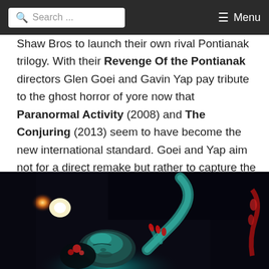Search ... Menu
Shaw Bros to launch their own rival Pontianak trilogy. With their Revenge Of the Pontianak directors Glen Goei and Gavin Yap pay tribute to the ghost horror of yore now that Paranormal Activity (2008) and The Conjuring (2013) seem to have become the new international standard. Goei and Yap aim not for a direct remake but rather to capture the essence of vintage Malay fright cinema and its foremost international ambassador.
[Figure (photo): Dark atmospheric horror film still: a person lying down with closed eyes lit by teal/cyan light, with a glowing orange orb in the background and a hand with red-painted nails raised above them.]